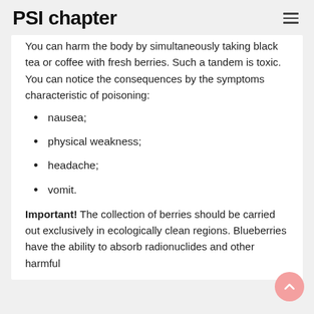PSI chapter
You can harm the body by simultaneously taking black tea or coffee with fresh berries. Such a tandem is toxic. You can notice the consequences by the symptoms characteristic of poisoning:
nausea;
physical weakness;
headache;
vomit.
Important! The collection of berries should be carried out exclusively in ecologically clean regions. Blueberries have the ability to absorb radionuclides and other harmful